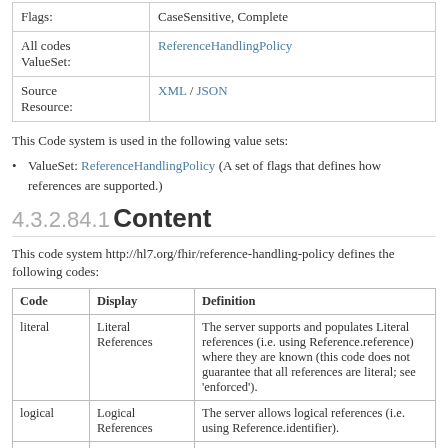|  |  |
| --- | --- |
| Flags: | CaseSensitive, Complete |
| All codes ValueSet: | ReferenceHandlingPolicy |
| Source Resource: | XML / JSON |
This Code system is used in the following value sets:
ValueSet: ReferenceHandlingPolicy (A set of flags that defines how references are supported.)
4.3.2.84.1 Content
This code system http://hl7.org/fhir/reference-handling-policy defines the following codes:
| Code | Display | Definition |
| --- | --- | --- |
| literal | Literal References | The server supports and populates Literal references (i.e. using Reference.reference) where they are known (this code does not guarantee that all references are literal; see 'enforced'). |
| logical | Logical References | The server allows logical references (i.e. using Reference.identifier). |
| resolves | Resolves References | The server will attempt to resolve logical references to literal references - i.e. converting |